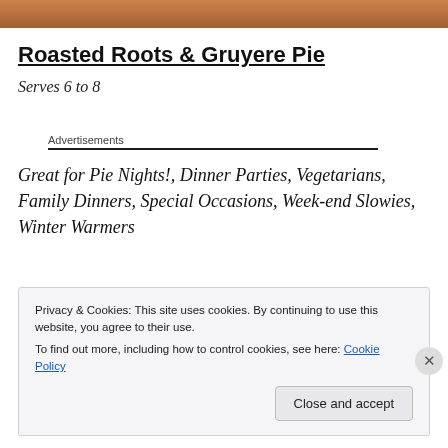[Figure (photo): Top strip showing a close-up of a golden-brown roasted pie crust]
Roasted Roots & Gruyere Pie
Serves 6 to 8
Advertisements
Great for Pie Nights!, Dinner Parties, Vegetarians, Family Dinners, Special Occasions, Week-end Slowies, Winter Warmers
Privacy & Cookies: This site uses cookies. By continuing to use this website, you agree to their use.
To find out more, including how to control cookies, see here: Cookie Policy